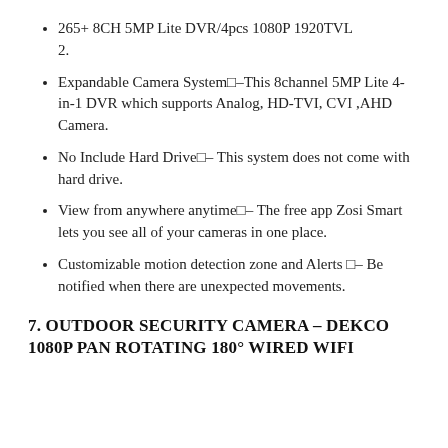265+ 8CH 5MP Lite DVR/4pcs 1080P 1920TVL 2.
Expandable Camera System□–This 8channel 5MP Lite 4-in-1 DVR which supports Analog, HD-TVI, CVI ,AHD Camera.
No Include Hard Drive□– This system does not come with hard drive.
View from anywhere anytime□– The free app Zosi Smart lets you see all of your cameras in one place.
Customizable motion detection zone and Alerts □– Be notified when there are unexpected movements.
7. OUTDOOR SECURITY CAMERA – DEKCO 1080P PAN ROTATING 180° WIRED WIFI